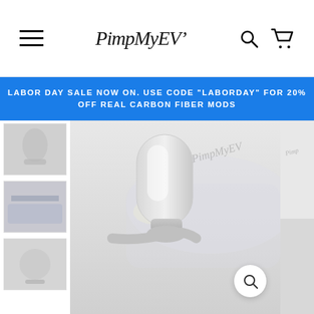PimpMyEV logo, hamburger menu, search and cart icons
LABOR DAY SALE NOW ON. USE CODE "LABORDAY" FOR 20% OFF REAL CARBON FIBER MODS
[Figure (photo): Product image of a white Tesla door handle/mirror component close-up with a white Tesla car in the background. Watermark reads 'PimpMyEV'. Sidebar shows thumbnail images of the same product. Partial second image visible on right edge.]